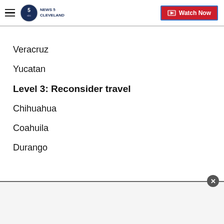NEWS 5 CLEVELAND | Watch Now
Veracruz
Yucatan
Level 3: Reconsider travel
Chihuahua
Coahuila
Durango